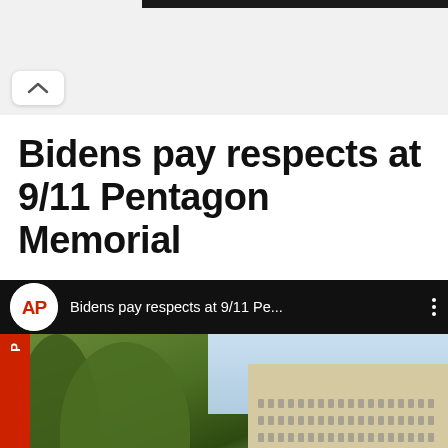Bidens pay respects at 9/11 Pentagon Memorial
[Figure (screenshot): AP video thumbnail showing Bidens pay respects at 9/11 Pentagon Memorial, with AP logo, video title 'Bidens pay respects at 9/11 Pe...' and three-dots menu icon, and below a video thumbnail showing trees, a building resembling the Pentagon, people in dark suits, and an AP watermark on the left.]